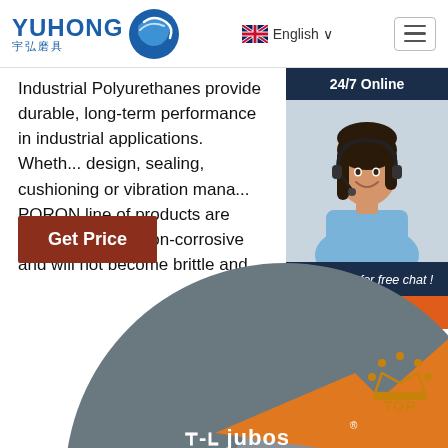[Figure (logo): YUHONG 宇弘磨具 logo with blue wave/sphere icon]
English ∨
Industrial Polyurethanes provide durable, long-term performance in industrial applications. Whether design, sealing, cushioning or vibration mana... PORON line of products are low-outgassing, non-corrosive and will not become brittle and
24/7 Online
[Figure (photo): Customer service representative woman with headset smiling]
Click here for free chat !
QUOTATION
Get Price
[Figure (photo): Grinding wheel product with orange and grey design, JUBOS brand marking, FOR METAL GRINDING text]
[Figure (logo): TOP icon with dotted crown design]